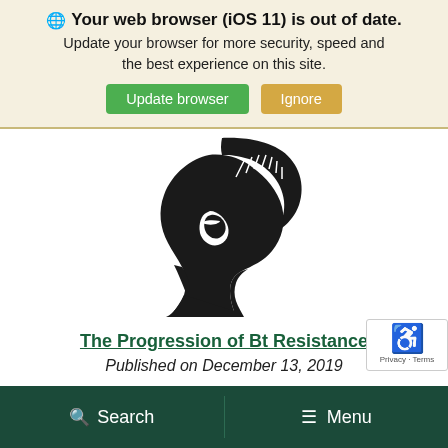Your web browser (iOS 11) is out of date. Update your browser for more security, speed and the best experience on this site.
[Figure (logo): Michigan State University Spartan helmet logo in black silhouette]
The Progression of Bt Resistance
Published on December 13, 2019
Search  Menu